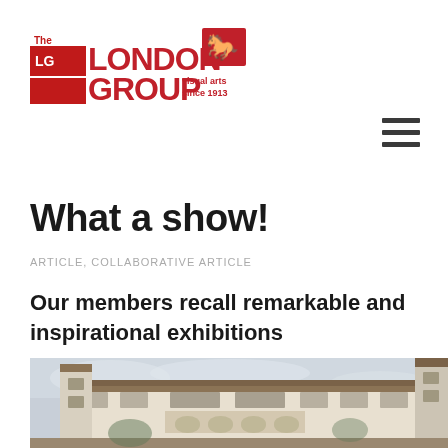[Figure (logo): The London Group visual arts since 1913 logo in red and dark red with a horse silhouette]
What a show!
ARTICLE, COLLABORATIVE ARTICLE
Our members recall remarkable and inspirational exhibitions
[Figure (photo): Photograph of an Italian-style building exterior with terracotta roof tiles, multi-story facade with windows and loggia, towers visible against a pale sky]